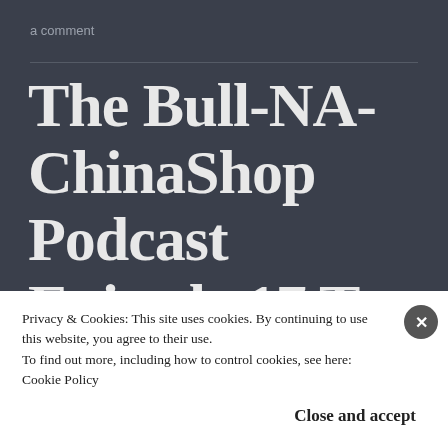a comment
The Bull‑NA‑ChinaShop Podcast Episode 17 Top 10 Tips for Whelping
Privacy & Cookies: This site uses cookies. By continuing to use this website, you agree to their use.
To find out more, including how to control cookies, see here: Cookie Policy
Close and accept